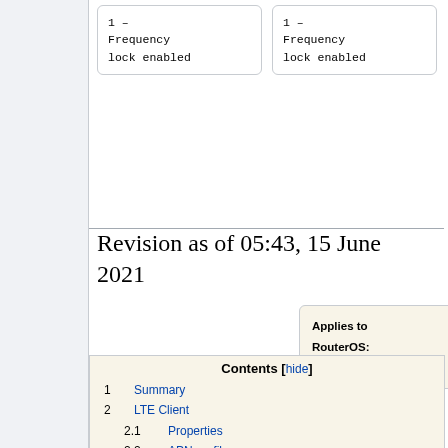[Figure (other): Two code boxes showing '1 - Frequency lock enabled' in monospace font]
Revision as of 05:43, 15 June 2021
[Figure (infographic): Applies to RouterOS box with monitor icon showing v6+,v5.12+]
Contents [hide]
1 Summary
2 LTE Client
2.1 Properties
2.2 APN profiles
2.3 Scanner
2.4 User Info command
2.4.1 Properties (Up to 6.40)
2.5 User at-chat command